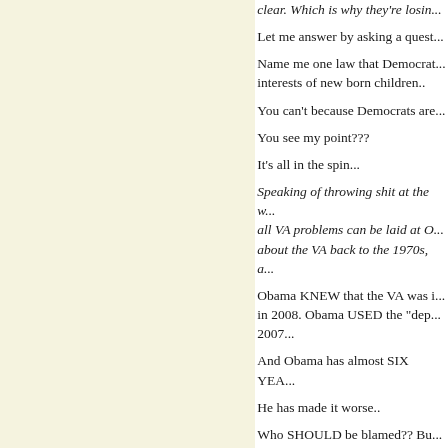clear. Which is why they're losing...
Let me answer by asking a quest...
Name me one law that Democrats... interests of new born children..
You can't because Democrats are...
You see my point???
It's all in the spin...
Speaking of throwing shit at the wall... all VA problems can be laid at O... about the VA back to the 1970s, a...
Obama KNEW that the VA was i... in 2008. Obama USED the "dep... 2007...
And Obama has almost SIX YEA...
He has made it worse..
Who SHOULD be blamed?? Bu...
The Buck Stops At The POTUS'...
Am I wrong??
OK, to be fair, when I read abou... was "she does, indeed, have a po...